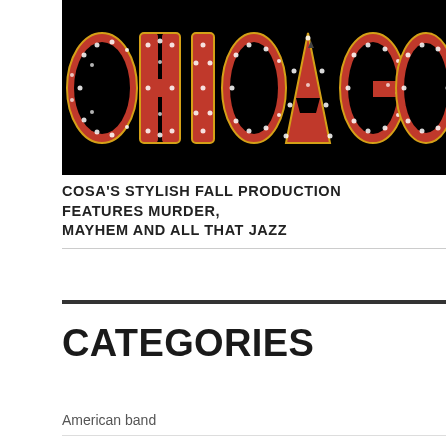[Figure (logo): Chicago musical logo on black background — large red sequined letters spelling CHICAGO with white dot highlights, gold outline borders on each letter]
COSA'S STYLISH FALL PRODUCTION FEATURES MURDER, MAYHEM AND ALL THAT JAZZ
CATEGORIES
American band